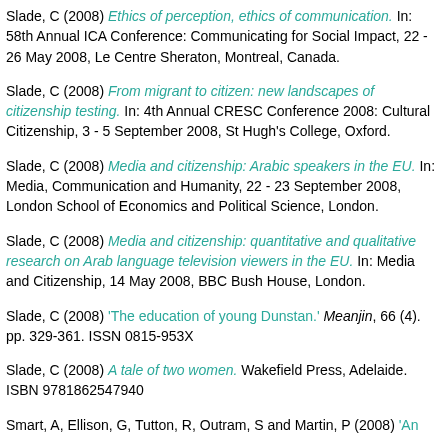Slade, C (2008) Ethics of perception, ethics of communication. In: 58th Annual ICA Conference: Communicating for Social Impact, 22 - 26 May 2008, Le Centre Sheraton, Montreal, Canada.
Slade, C (2008) From migrant to citizen: new landscapes of citizenship testing. In: 4th Annual CRESC Conference 2008: Cultural Citizenship, 3 - 5 September 2008, St Hugh's College, Oxford.
Slade, C (2008) Media and citizenship: Arabic speakers in the EU. In: Media, Communication and Humanity, 22 - 23 September 2008, London School of Economics and Political Science, London.
Slade, C (2008) Media and citizenship: quantitative and qualitative research on Arab language television viewers in the EU. In: Media and Citizenship, 14 May 2008, BBC Bush House, London.
Slade, C (2008) 'The education of young Dunstan.' Meanjin, 66 (4). pp. 329-361. ISSN 0815-953X
Slade, C (2008) A tale of two women. Wakefield Press, Adelaide. ISBN 9781862547940
Smart, A, Ellison, G, Tutton, R, Outram, S and Martin, P (2008) 'An